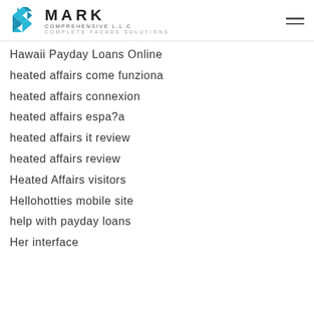MARK COMPREHENSIVE LLC — COMPLETE FACADE SOLUTIONS
Hawaii Payday Loans Online
heated affairs come funziona
heated affairs connexion
heated affairs espa?a
heated affairs it review
heated affairs review
Heated Affairs visitors
Hellohotties mobile site
help with payday loans
Her interface